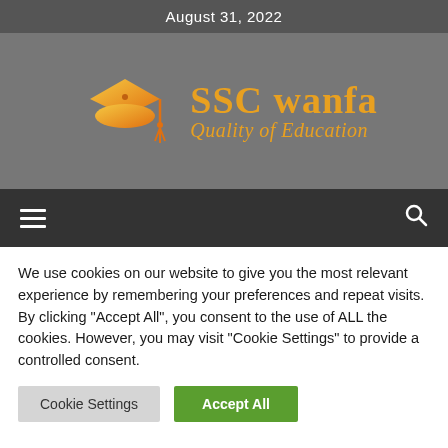August 31, 2022
[Figure (logo): SSC Wanfa logo with graduation cap icon in orange gradient, site name 'SSC wanfa' and tagline 'Quality of Education' in orange/gold text on grey background]
[Figure (infographic): Navigation bar with hamburger menu icon on left and search icon on right, dark grey background]
We use cookies on our website to give you the most relevant experience by remembering your preferences and repeat visits. By clicking "Accept All", you consent to the use of ALL the cookies. However, you may visit "Cookie Settings" to provide a controlled consent.
Cookie Settings | Accept All